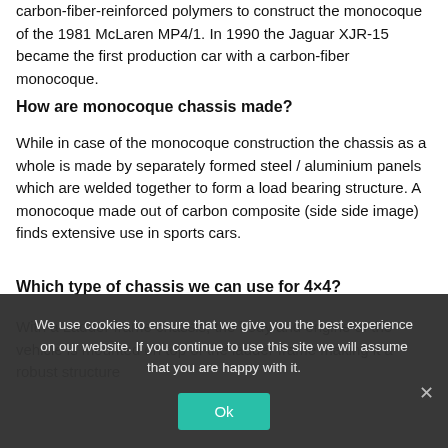carbon-fiber-reinforced polymers to construct the monocoque of the 1981 McLaren MP4/1. In 1990 the Jaguar XJR-15 became the first production car with a carbon-fiber monocoque.
How are monocoque chassis made?
While in case of the monocoque construction the chassis as a whole is made by separately formed steel / aluminium panels which are welded together to form a load bearing structure. A monocoque made out of carbon composite (side side image) finds extensive use in sports cars.
Which type of chassis we can use for 4×4?
With a Ladder frame chassis, the body and engine of the vehicle is mounted on top of the ladder frame making it a robust structure
We use cookies to ensure that we give you the best experience on our website. If you continue to use this site we will assume that you are happy with it.